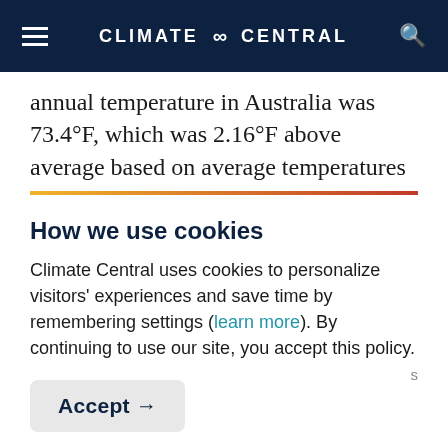CLIMATE ∞ CENTRAL
annual temperature in Australia was 73.4°F, which was 2.16°F above average based on average temperatures
How we use cookies
Climate Central uses cookies to personalize visitors' experiences and save time by remembering settings (learn more). By continuing to use our site, you accept this policy.
Accept →